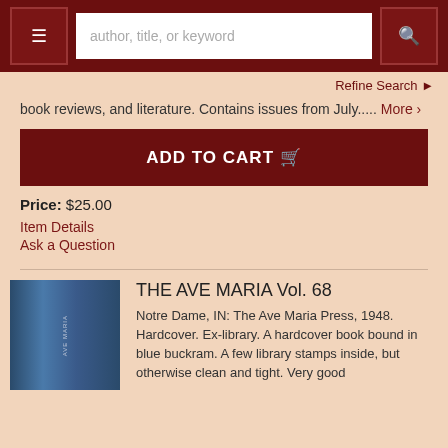author, title, or keyword [search bar with menu and search buttons]
Refine Search
book reviews, and literature. Contains issues from July..... More
ADD TO CART
Price: $25.00
Item Details
Ask a Question
THE AVE MARIA Vol. 68
Notre Dame, IN: The Ave Maria Press, 1948. Hardcover. Ex-library. A hardcover book bound in blue buckram. A few library stamps inside, but otherwise clean and tight. Very good